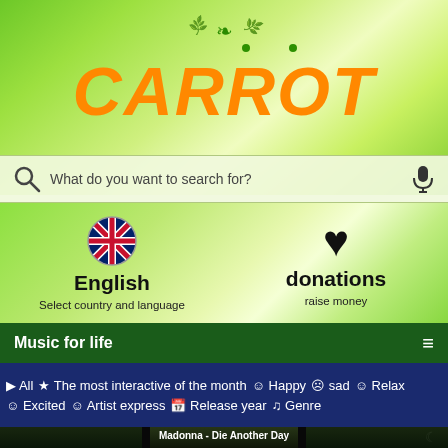[Figure (screenshot): CARROT app logo in orange bold italic text with green leaves on top, on a bright green gradient background]
[Figure (screenshot): Search bar with magnifier icon on the left, placeholder text 'What do you want to search for?', microphone icon on the right]
[Figure (screenshot): UK flag circle icon with 'English' bold label and 'Select country and language' below on the left; black heart icon with 'donations' bold and 'raise money' below on the right, on green gradient background]
Music for life
▶ All  ☆ The most interactive of the month  ☺ Happy  ☹ sad  ☺ Relax
☺ Excited  👤 Artist express  📅 Release year  ♫ Genre
[Figure (screenshot): Three images of Madonna (green-tinted dark photo) side by side with text overlay 'Madonna - Die Another Day']